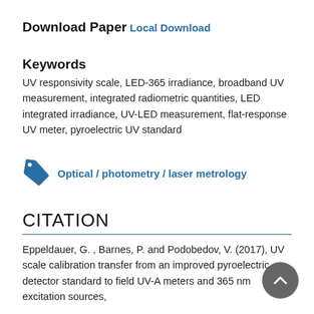Download Paper
Local Download
Keywords
UV responsivity scale, LED-365 irradiance, broadband UV measurement, integrated radiometric quantities, LED integrated irradiance, UV-LED measurement, flat-response UV meter, pyroelectric UV standard
Optical / photometry / laser metrology
CITATION
Eppeldauer, G. , Barnes, P. and Podobedov, V. (2017), UV scale calibration transfer from an improved pyroelectric detector standard to field UV-A meters and 365 nm excitation sources,